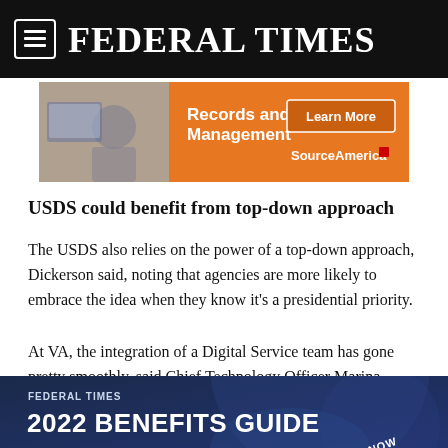FEDERAL TIMES
[Figure (infographic): Orange advertisement banner for SourceAmerica Records and Doc Management with a Learn More button]
USDS could benefit from top-down approach
The USDS also relies on the power of a top-down approach, Dickerson said, noting that agencies are more likely to embrace the idea when they know it's a presidential priority.
At VA, the integration of a Digital Service team has gone pretty smoothly, said Chief Technology Officer Marina Martin.
[Figure (infographic): Dark blue banner ad for Federal Times 2022 Benefits Guide with VIEW NOW text]